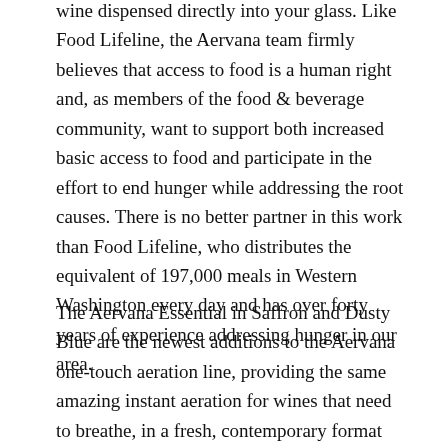wine dispensed directly into your glass. Like Food Lifeline, the Aervana team firmly believes that access to food is a human right and, as members of the food & beverage community, want to support both increased basic access to food and participate in the effort to end hunger while addressing the root causes. There is no better partner in this work than Food Lifeline, who distributes the equivalent of 197,000 meals in Western Washington every day and has over forty years of experience addressing hunger in our area.
The Aervana Essential in Saffron and Dusty Blue are the newest additions to the Aervana one-touch aeration line, providing the same amazing instant aeration for wines that need to breathe, in a fresh, contemporary format for everyday wine drinkers. The new Saffron and Dusty Blue Essentials were created with community impact in mind, providing an